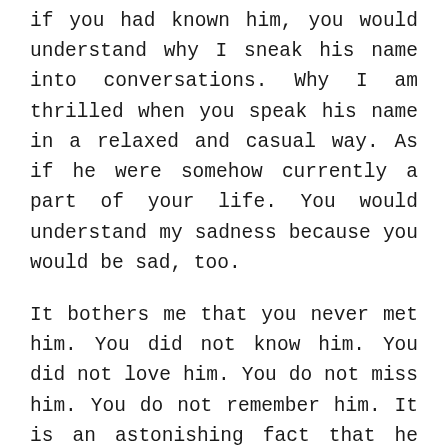if you had known him, you would understand why I sneak his name into conversations. Why I am thrilled when you speak his name in a relaxed and casual way. As if he were somehow currently a part of your life. You would understand my sadness because you would be sad, too.
It bothers me that you never met him. You did not know him. You did not love him. You do not miss him. You do not remember him. It is an astonishing fact that he was not, and never will be, a part of your experience.
But maybe, as I think on that other couple's son and mourn the fact that I did not know him and